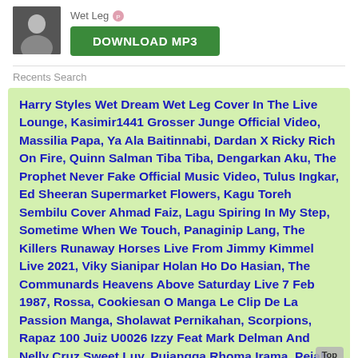[Figure (photo): Small square artist thumbnail photo showing a person, dark background]
Wet Leg
DOWNLOAD MP3
Recents Search
Harry Styles Wet Dream Wet Leg Cover In The Live Lounge, Kasimir1441 Grosser Junge Official Video, Massilia Papa, Ya Ala Baitinnabi, Dardan X Ricky Rich On Fire, Quinn Salman Tiba Tiba, Dengarkan Aku, The Prophet Never Fake Official Music Video, Tulus Ingkar, Ed Sheeran Supermarket Flowers, Kagu Toreh Sembilu Cover Ahmad Faiz, Lagu Spiring In My Step, Sometime When We Touch, Panaginip Lang, The Killers Runaway Horses Live From Jimmy Kimmel Live 2021, Viky Sianipar Holan Ho Do Hasian, The Communards Heavens Above Saturday Live 7 Feb 1987, Rossa, Cookiesan O Manga Le Clip De La Passion Manga, Sholawat Pernikahan, Scorpions, Rapaz 100 Juiz U0026 Izzy Feat Mark Delman And Nelly Cruz Sweet Luv, Pujangga Rhoma Irama, Pejah Husnul Khotimah Cover Ai Khodijah, Ojo Nangis, Lea